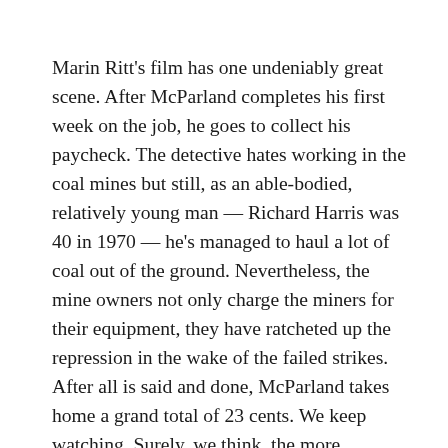Marin Ritt's film has one undeniably great scene. After McParland completes his first week on the job, he goes to collect his paycheck. The detective hates working in the coal mines but still, as an able-bodied, relatively young man — Richard Harris was 40 in 1970 — he's managed to haul a lot of coal out of the ground. Nevertheless, the mine owners not only charge the miners for their equipment, they have ratcheted up the repression in the wake of the failed strikes. After all is said and done, McParland takes home a grand total of 23 cents. We keep watching. Surely, we think, the more experienced miners, who already own their equipment and who are better at hauling coal, will do better. They do worse. The more coal a miner can haul, the more equipment he needs, and the more he is charged. The man in line after McParland hauls out twice as much coal and makes only half as much money. The next man hauls out even more coal and winds up in debt for the week. He owes the mine owners